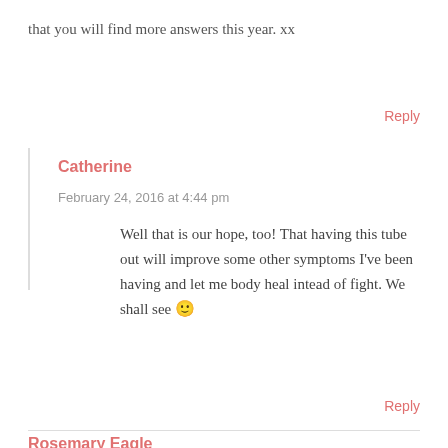that you will find more answers this year. xx
Reply
Catherine
February 24, 2016 at 4:44 pm
Well that is our hope, too! That having this tube out will improve some other symptoms I've been having and let me body heal intead of fight. We shall see 🙂
Reply
Rosemary Eagle
February 18, 2016 at 7:47 pm
Well done Catherine! You took control of the situation